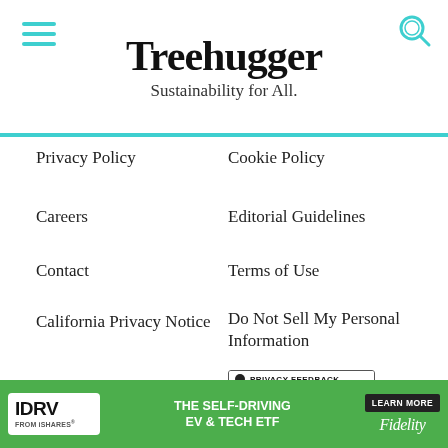Treehugger
Sustainability for All.
Privacy Policy
Cookie Policy
Careers
Editorial Guidelines
Contact
Terms of Use
California Privacy Notice
Do Not Sell My Personal Information
[Figure (logo): TRUSTe Privacy Feedback badge — black dot, PRIVACY FEEDBACK text, Powered by TRUSTe on green background]
[Figure (logo): Dotdash Meredith logo with orange D icon and colorful pattern icon]
Treehugger is part of the Dotdash Meredith publishing family.
We've updated our Privacy Policy, which will go in to effect on September 1, 2022. Review our Privacy Policy
[Figure (infographic): IDRV FROM iSHARES — THE SELF-DRIVING EV & TECH ETF — LEARN MORE — Fidelity advertisement banner]